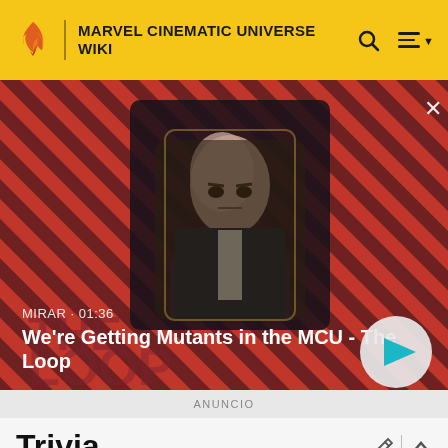MARVEL CINEMATIC UNIVERSE WIKI
[Figure (screenshot): Video thumbnail showing a bald man in a suit seated in a chair, with red and dark diagonal striped background and 'THE LOOP' watermark. Shows title: We're Getting Mutants in the MCU - The Loop. Duration: 01:36. Has a play button overlay.]
ANUNCIO
Trivia
En año 2022, llegó a la pantalla del Marvel...